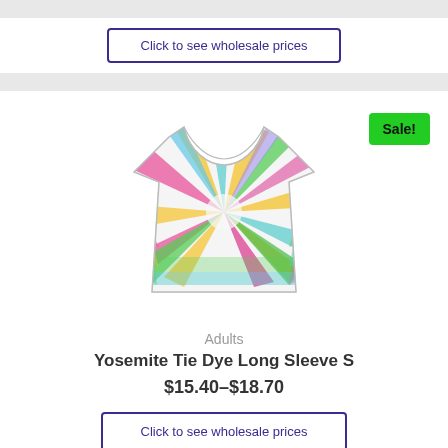[Figure (screenshot): Button labeled 'Click to see wholesale prices' with purple border at top of page]
[Figure (photo): Colorful tie-dye long sleeve shirt in pastel colors (pink, yellow, green, blue) in a swirl/spiral pattern]
Sale!
Adults
Yosemite Tie Dye Long Sleeve S
$15.40–$18.70
Click to see wholesale prices